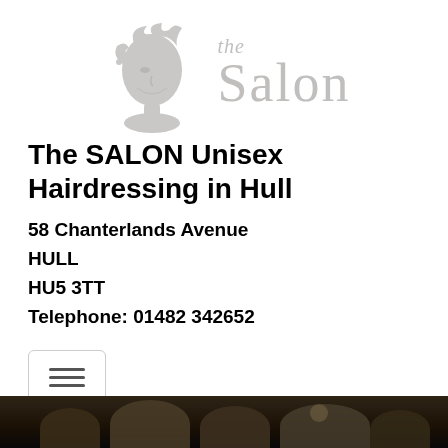[Figure (logo): The Salon logo: decorative woman's face silhouette in grey with ornate swirls, next to italic 'the' and large serif 'Salon' text in light grey]
The SALON Unisex Hairdressing in Hull
58 Chanterlands Avenue
HULL
HU5 3TT
Telephone: 01482 342652
[Figure (other): Hamburger menu button icon with three horizontal lines, inside a rounded rectangle border]
[Figure (photo): Dark photo strip at bottom showing people in a salon setting]